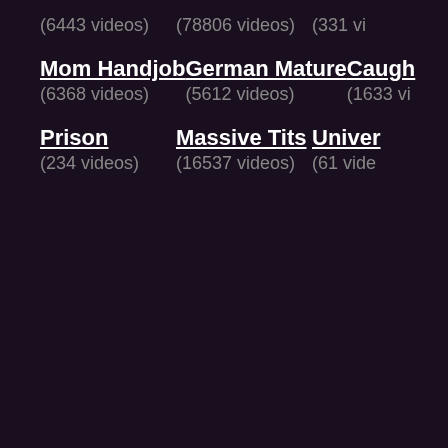(6443 videos)
(78806 videos)
(331 vi…)
Mom Handjob
(6368 videos)
German Mature
(5612 videos)
Caugh…
(1633 vi…)
Prison
(234 videos)
Massive Tits
(16537 videos)
Univer…
(61 vide…)
RECENT
brazzers wife stories affair married mom
please bang my wife s…
pantyhose
legalporno timea bella linda sweet triple anal
bus g…
cum sluts in sperm armageddon fucked andinseminated by 100 men